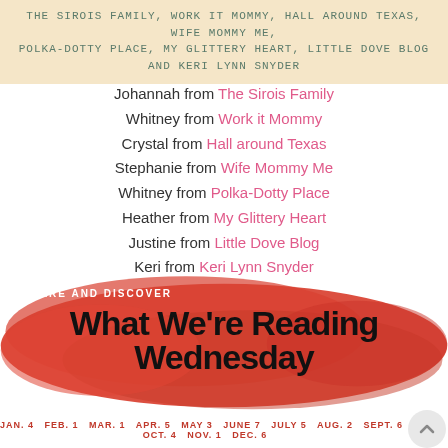THE SIROIS FAMILY, WORK IT MOMMY, HALL AROUND TEXAS, WIFE MOMMY ME, POLKA-DOTTY PLACE, MY GLITTERY HEART, LITTLE DOVE BLOG AND KERI LYNN SNYDER
Johannah from The Sirois Family
Whitney from Work it Mommy
Crystal from Hall around Texas
Stephanie from Wife Mommy Me
Whitney from Polka-Dotty Place
Heather from My Glittery Heart
Justine from Little Dove Blog
Keri from Keri Lynn Snyder
[Figure (infographic): Red brush stroke background with text 'SHARE AND DISCOVER What We're Reading Wednesday' and dates JAN. 4  FEB. 1  MAR. 1  APR. 5  MAY 3  JUNE 7  JULY 5  AUG. 2  SEPT. 6  OCT. 4  NOV. 1  DEC. 6]